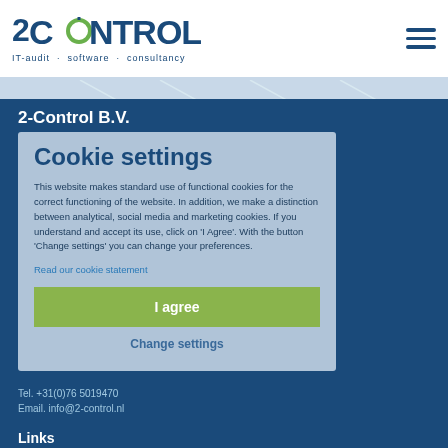2CONTROL IT-audit · software · consultancy
2-Control B.V.
Haagsemarkt 1
Cookie settings

This website makes standard use of functional cookies for the correct functioning of the website. In addition, we make a distinction between analytical, social media and marketing cookies. If you understand and accept its use, click on 'I Agree'. With the button 'Change settings' you can change your preferences.
Read our cookie statement
I agree
Change settings
Tel. +31(0)76 5019470
Email. info@2-control.nl
Links